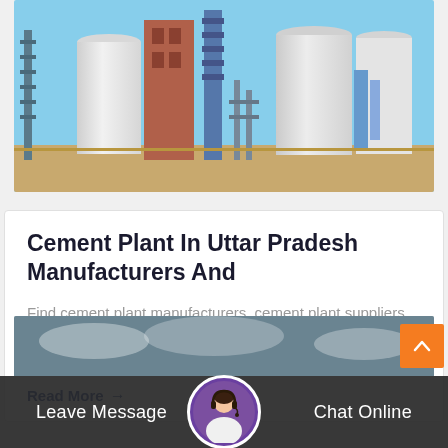[Figure (photo): Industrial cement plant with large cylindrical silos, steel structures, conveyors and industrial equipment against a blue sky]
Cement Plant In Uttar Pradesh Manufacturers And
Find cement plant manufacturers, cement plant suppliers, exporters, wholesalers and distributors in uttar pradesh india list of cement plant selling…
Read More →
[Figure (photo): Partial view of industrial facility at bottom of page]
Leave Message   Chat Online